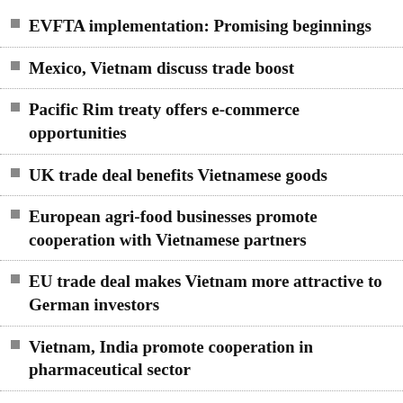EVFTA implementation: Promising beginnings
Mexico, Vietnam discuss trade boost
Pacific Rim treaty offers e-commerce opportunities
UK trade deal benefits Vietnamese goods
European agri-food businesses promote cooperation with Vietnamese partners
EU trade deal makes Vietnam more attractive to German investors
Vietnam, India promote cooperation in pharmaceutical sector
Vietnam, Mexico promote economic, trade, investment cooperation
Pacific Rim trade deal boosts Vietnamese...